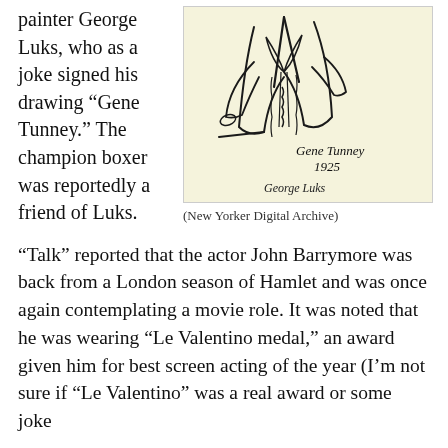painter George Luks, who as a joke signed his drawing “Gene Tunney.” The champion boxer was reportedly a friend of Luks.
[Figure (illustration): A loose sketch drawing of a figure, signed 'Gene Tunney 1925' with 'George Luks' written below in cursive, on a pale yellow background.]
(New Yorker Digital Archive)
“Talk” reported that the actor John Barrymore was back from a London season of Hamlet and was once again contemplating a movie role. It was noted that he was wearing “Le Valentino medal,” an award given him for best screen acting of the year (I’m not sure if “Le Valentino” was a real award or some joke